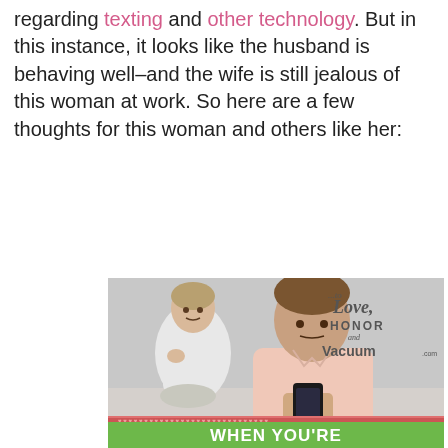regarding texting and other technology. But in this instance, it looks like the husband is behaving well–and the wife is still jealous of this woman at work. So here are a few thoughts for this woman and others like her:
[Figure (photo): A man in a pink shirt looking at his phone while a woman in white sits in the background looking concerned/jealous. The image has a watermark '...to Love, HONOR and Vacuum .com' in the upper right. At the bottom there is a green banner with decorative border and white bold text reading 'WHEN YOU'RE']